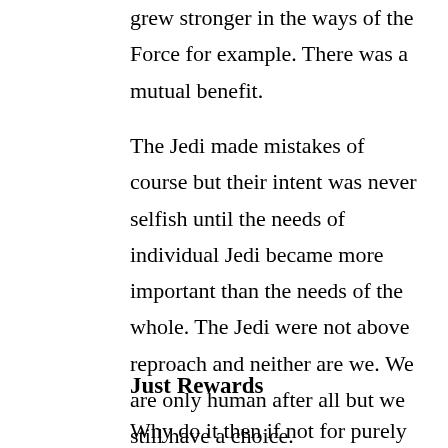grew stronger in the ways of the Force for example. There was a mutual benefit.
The Jedi made mistakes of course but their intent was never selfish until the needs of individual Jedi became more important than the needs of the whole. The Jedi were not above reproach and neither are we. We are only human after all but we still have a choice.
Just Rewards
Why do it then if not for purely selfless